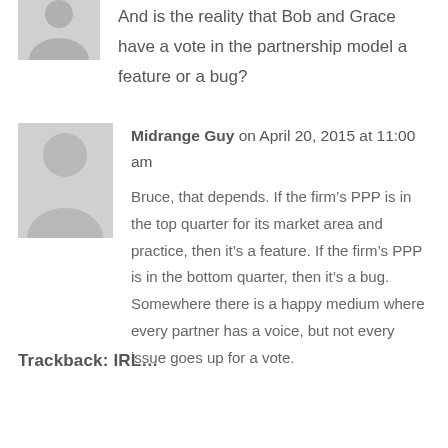[Figure (illustration): Generic grey avatar/profile icon showing silhouette of a person, partially cropped at top of page]
And is the reality that Bob and Grace have a vote in the partnership model a feature or a bug?
[Figure (illustration): Generic grey avatar/profile icon showing silhouette of a person]
Midrange Guy on April 20, 2015 at 11:00 am
Bruce, that depends. If the firm’s PPP is in the top quarter for its market area and practice, then it’s a feature. If the firm’s PPP is in the bottom quarter, then it’s a bug. Somewhere there is a happy medium where every partner has a voice, but not every issue goes up for a vote.
Trackback: IRL...